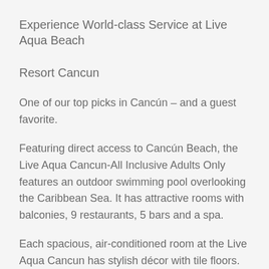Experience World-class Service at Live Aqua Beach
Resort Cancun
One of our top picks in Cancún – and a guest favorite.
Featuring direct access to Cancún Beach, the Live Aqua Cancun-All Inclusive Adults Only features an outdoor swimming pool overlooking the Caribbean Sea. It has attractive rooms with balconies, 9 restaurants, 5 bars and a spa.
Each spacious, air-conditioned room at the Live Aqua Cancun has stylish décor with tile floors. All rooms